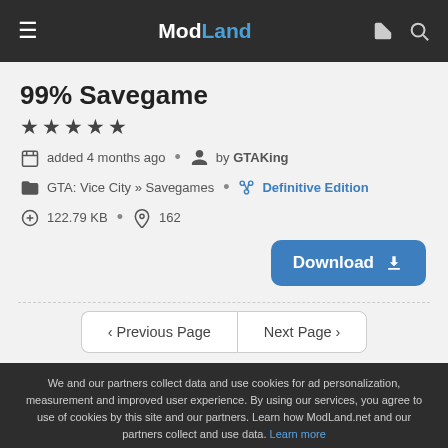ModLand
99% Savegame
★★★★★
added 4 months ago · by GTAKing
GTA: Vice City » Savegames · Definitive Edition
122.79 KB · 162
Download
< Previous Page   Next Page >
We and our partners collect data and use cookies for ad personalization, measurement and improved user experience. By using our services, you agree to use of cookies by this site and our partners. Learn how ModLand.net and our partners collect and use data. Learn more
Okay